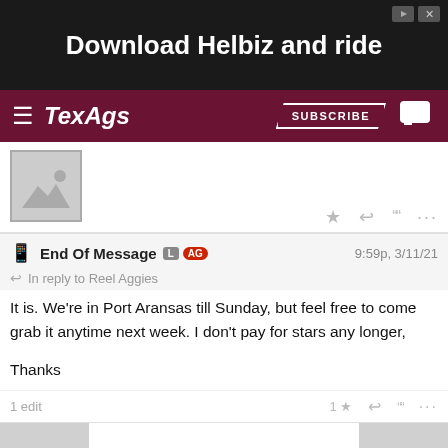[Figure (screenshot): Advertisement banner: 'Download Helbiz and ride' on dark background]
TexAgs — SUBSCRIBE
[Figure (photo): User avatar placeholder with mountain/image icon]
End Of Message L AG — 9:59p, 3/11/21
In reply to Reel Aggies
It is. We're in Port Aransas till Sunday, but feel free to come grab it anytime next week. I don't pay for stars any longer,

Thanks
1 edit